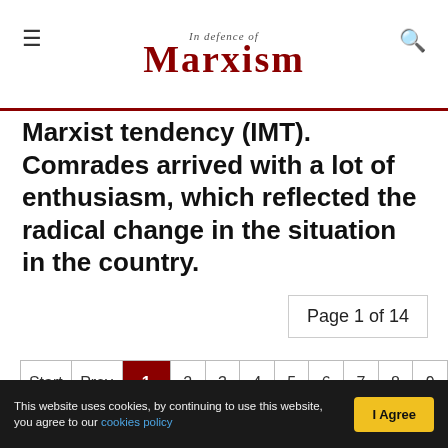In Defence of Marxism
Marxist tendency (IMT). Comrades arrived with a lot of enthusiasm, which reflected the radical change in the situation in the country.
Page 1 of 14
Start | Prev | 1 | 2 | 3 | 4 | 5 | 6 | 7 | 8 | 9 | 10 | Next | End
This website uses cookies, by continuing to use this website, you agree to our cookies policy